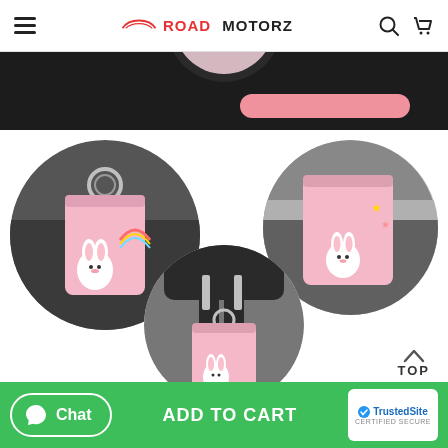Road Motorz — navigation header with hamburger menu, logo, search and cart icons
[Figure (photo): Product banner strip showing top of pink car trash can on dark background with pink pill shape]
[Figure (photo): Three circular photos of a pink cute bunny-printed car trash can hung in different positions inside a car]
TOP
Chat | ADD TO CART | TrustedSite CERTIFIED SECURE